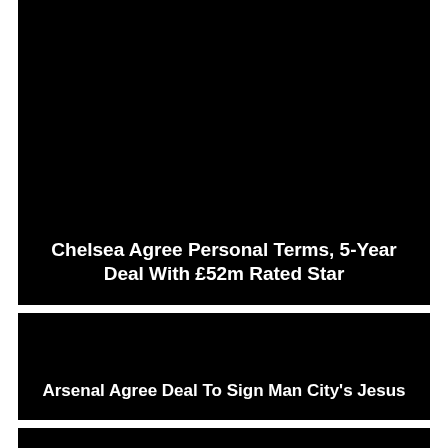[Figure (photo): Black background card with white bold title text: Chelsea Agree Personal Terms, 5-Year Deal With £52m Rated Star]
[Figure (photo): Black background card with white bold title text: Arsenal Agree Deal To Sign Man City's Jesus]
[Figure (photo): Black background card, partially visible at bottom of page]